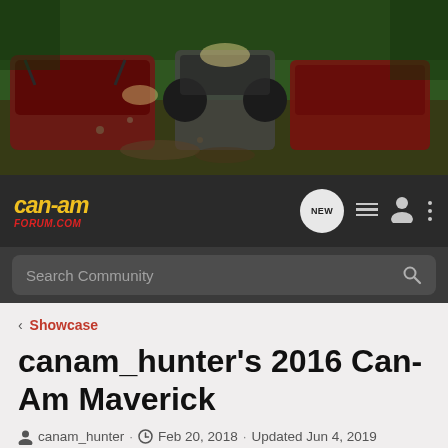[Figure (photo): Header banner showing Can-Am ATVs and UTVs riding through muddy forest trails]
[Figure (logo): Can-Am Forum .com logo in yellow and red italic text on dark background, with navigation icons including NEW chat bubble, list icon, user icon, and more options icon]
Search Community
< Showcase
canam_hunter's 2016 Can-Am Maverick
canam_hunter · Feb 20, 2018 · Updated Jun 4, 2019
+ Follow